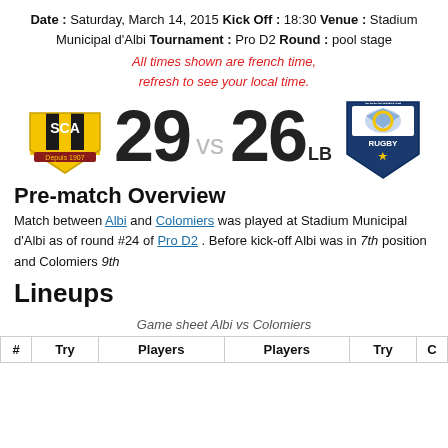Date : Saturday, March 14, 2015 Kick Off : 18:30 Venue : Stadium Municipal d'Albi Tournament : Pro D2 Round : pool stage
All times shown are french time, refresh to see your local time.
[Figure (other): Scoreboard showing SCA logo on left, score 29 vs 26 LB in center, Colomiers Rugby logo on right]
Pre-match Overview
Match between Albi and Colomiers was played at Stadium Municipal d'Albi as of round #24 of Pro D2 . Before kick-off Albi was in 7th position and Colomiers 9th
Lineups
Game sheet Albi vs Colomiers
| # | Try | Players | Players | Try | C |
| --- | --- | --- | --- | --- | --- |